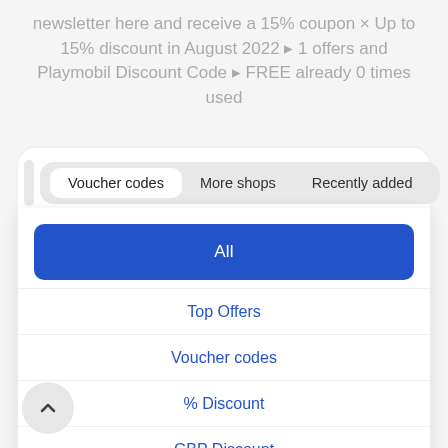newsletter here and receive a 15% coupon × Up to 15% discount in August 2022 ▸ 1 offers and Playmobil Discount Code ▸ FREE already 0 times used
Voucher codes
More shops
Recently added
All
Top Offers
Voucher codes
% Discount
GBP Discount
Free shipping
Deals